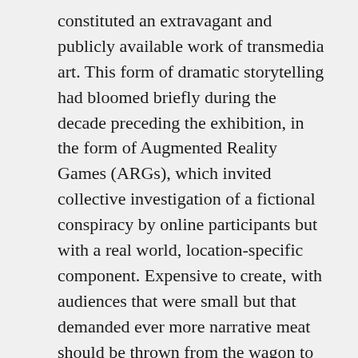constituted an extravagant and publicly available work of transmedia art. This form of dramatic storytelling had bloomed briefly during the decade preceding the exhibition, in the form of Augmented Reality Games (ARGs), which invited collective investigation of a fictional conspiracy by online participants but with a real world, location-specific component. Expensive to create, with audiences that were small but that demanded ever more narrative meat should be thrown from the wagon to sate their individual exploratory appetite, these productions were increasingly funded from marketing budgets: for prominent brands, for product launches, or to accompany campaigns